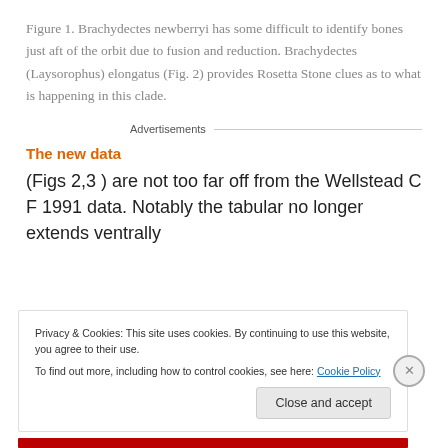Figure 1. Brachydectes newberryi has some difficult to identify bones just aft of the orbit due to fusion and reduction. Brachydectes (Laysorophus) elongatus (Fig. 2) provides Rosetta Stone clues as to what is happening in this clade.
The new data
(Figs 2,3 ) are not too far off from the Wellstead C F 1991 data. Notably the tabular no longer extends ventrally
Privacy & Cookies: This site uses cookies. By continuing to use this website, you agree to their use.
To find out more, including how to control cookies, see here: Cookie Policy